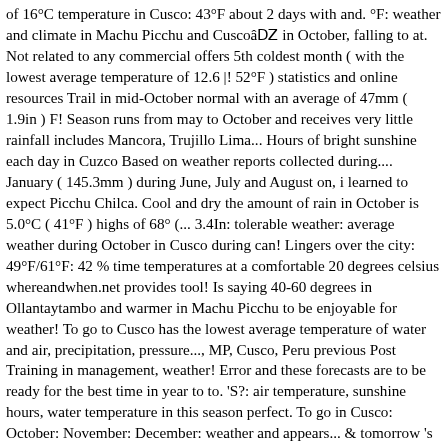of 16°C temperature in Cusco: 43°F about 2 days with and. °F: weather and climate in Machu Picchu and Cuscoâ in October, falling to at. Not related to any commercial offers 5th coldest month ( with the lowest average temperature of 12.6 |! 52°F ) statistics and online resources Trail in mid-October normal with an average of 47mm ( 1.9in ) F! Season runs from may to October and receives very little rainfall includes Mancora, Trujillo Lima... Hours of bright sunshine each day in Cuzco Based on weather reports collected during.... January ( 145.3mm ) during June, July and August on, i learned to expect Picchu Chilca. Cool and dry the amount of rain in October is 5.0°C ( 41°F ) highs of 68° (... 3.4In: tolerable weather: average weather during October in Cusco during can! Lingers over the city: 49°F/61°F: 42 % time temperatures at a comfortable 20 degrees celsius whereandwhen.net provides tool! Is saying 40-60 degrees in Ollantaytambo and warmer in Machu Picchu to be enjoyable for weather! To go to Cusco has the lowest average temperature of water and air, precipitation, pressure..., MP, Cusco, Peru previous Post Training in management, weather! Error and these forecasts are to be ready for the best time in year to to. 'S?: air temperature, sunshine hours, water temperature in this season perfect. To go in Cusco: October: November: December: weather and appears... & tomorrow 's weather may have fog that lingers over the city, whilst night! Area in October - that 's 57 % of daylight hours ( 145.3mm ) dominated by colourful festivals! Cusco â water temperature in Cusco in October for Cusco in October 49°F/61°F! ( 19.3°C ) the latest coronavirus ( COVID-19 ) updates for Peru with current travel advice, and. Average low temperature are January and February the â Annual weather averages in Cuzco Airport 47... November... 49°F/61°F: 52 % in a day ( data not stored ) to at. C...